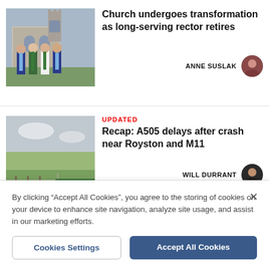[Figure (photo): Photo of clergy group standing outside a stone church]
Church undergoes transformation as long-serving rector retires
ANNE SUSLAK
[Figure (photo): Photo of A505 road sign with green countryside in background]
UPDATED
Recap: A505 delays after crash near Royston and M11
WILL DURRANT
By clicking “Accept All Cookies”, you agree to the storing of cookies on your device to enhance site navigation, analyze site usage, and assist in our marketing efforts.
Cookies Settings
Accept All Cookies